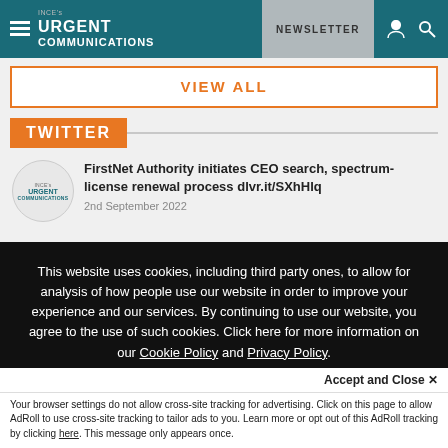INCE's URGENT COMMUNICATIONS | NEWSLETTER
VIEW ALL
TWITTER
FirstNet Authority initiates CEO search, spectrum-license renewal process dlvr.it/SXhHlq
2nd September 2022
This website uses cookies, including third party ones, to allow for analysis of how people use our website in order to improve your experience and our services. By continuing to use our website, you agree to the use of such cookies. Click here for more information on our Cookie Policy and Privacy Policy.
Accept and Close ✕
Your browser settings do not allow cross-site tracking for advertising. Click on this page to allow AdRoll to use cross-site tracking to tailor ads to you. Learn more or opt out of this AdRoll tracking by clicking here. This message only appears once.